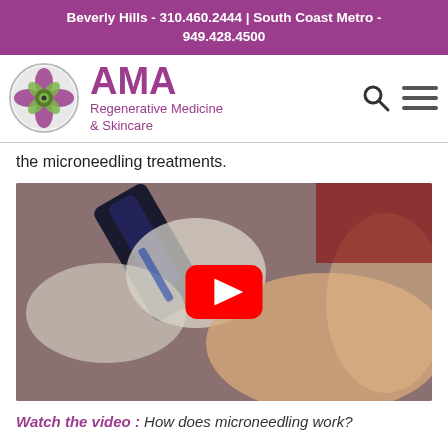Beverly Hills - 310.460.2444 | South Coast Metro - 949.428.4500
[Figure (logo): AMA Regenerative Medicine & Skincare logo with circular flower emblem and search/menu icons]
the microneedling treatments.
[Figure (photo): Medical professional in gloved hands performing microneedling treatment on a patient's face, with YouTube play button overlay]
Watch the video : How does microneedling work?